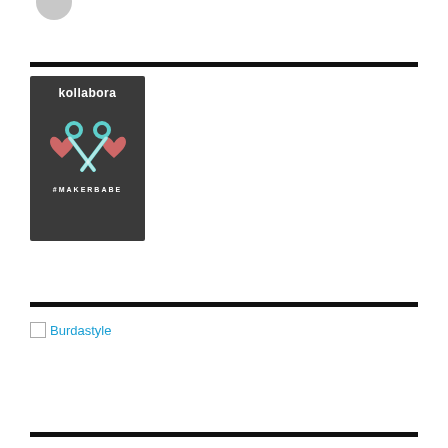[Figure (logo): Partial circular gray logo at top left]
[Figure (logo): Kollabora #MAKERBABE logo: dark gray square with 'kollabora' text, teal scissors crossed, pink hearts, and '#MAKERBABE' text at bottom]
[Figure (logo): Burdastyle linked image placeholder with 'Burdastyle' text in blue]